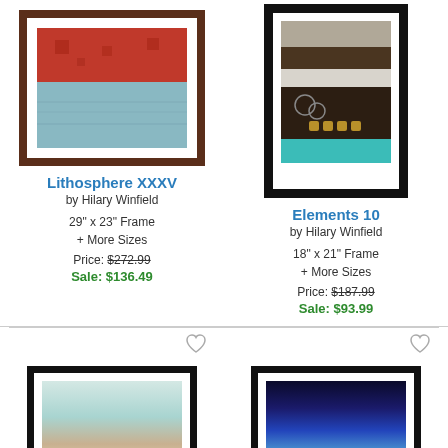[Figure (photo): Framed abstract art print 'Lithosphere XXXV' with red top half and light blue bottom half in dark brown frame]
Lithosphere XXXV
by Hilary Winfield
29" x 23" Frame
+ More Sizes
Price: $272.99
Sale: $136.49
[Figure (photo): Framed abstract art print 'Elements 10' with horizontal stripes in brown, grey, dark tones and teal in black frame]
Elements 10
by Hilary Winfield
18" x 21" Frame
+ More Sizes
Price: $187.99
Sale: $93.99
[Figure (photo): Framed abstract art print with blue and cream tones in black frame (bottom left, partially visible)]
[Figure (photo): Framed landscape art print with dark blue gradient horizon in black frame (bottom right, partially visible)]